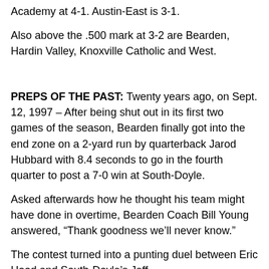Academy at 4-1. Austin-East is 3-1.
Also above the .500 mark at 3-2 are Bearden, Hardin Valley, Knoxville Catholic and West.
PREPS OF THE PAST: Twenty years ago, on Sept. 12, 1997 – After being shut out in its first two games of the season, Bearden finally got into the end zone on a 2-yard run by quarterback Jarod Hubbard with 8.4 seconds to go in the fourth quarter to post a 7-0 win at South-Doyle.
Asked afterwards how he thought his team might have done in overtime, Bearden Coach Bill Young answered, “Thank goodness we’ll never know.”
The contest turned into a punting duel between Eric Hood and South-Doyle’s Jeff